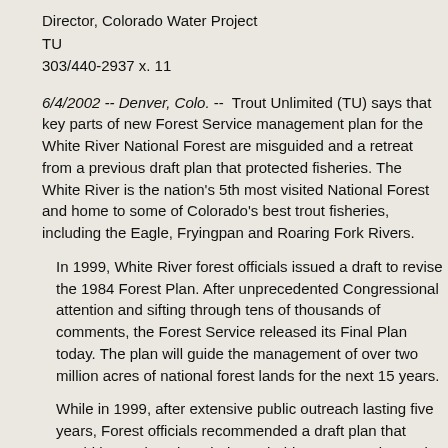Director, Colorado Water Project
TU
303/440-2937 x. 11
6/4/2002 -- Denver, Colo. --  Trout Unlimited (TU) says that key parts of new Forest Service management plan for the White River National Forest are misguided and a retreat from a previous draft plan that protected fisheries. The White River is the nation's 5th most visited National Forest and home to some of Colorado's best trout fisheries, including the Eagle, Fryingpan and Roaring Fork Rivers.
In 1999, White River forest officials issued a draft to revise the 1984 Forest Plan. After unprecedented Congressional attention and sifting through tens of thousands of comments, the Forest Service released its Final Plan today. The plan will guide the management of over two million acres of national forest lands for the next 15 years.
While in 1999, after extensive public outreach lasting five years, Forest officials recommended a draft plan that would have placed a priority on habitat preservation and environmental protection, the Final Plan retreated from these priorities in favor of managing for “multiple resource outputs.”